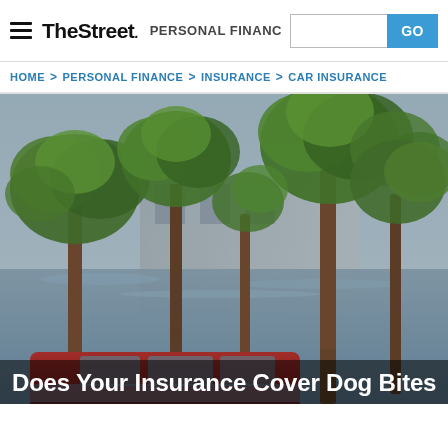TheStreet PERSONAL FINANCE [search] GO
HOME > PERSONAL FINANCE > INSURANCE > CAR INSURANCE
[Figure (photo): A red SUV partially submerged in floodwater surrounded by trees with green foliage, reflecting in the standing water below them]
Does Your Insurance Cover Dog Bites